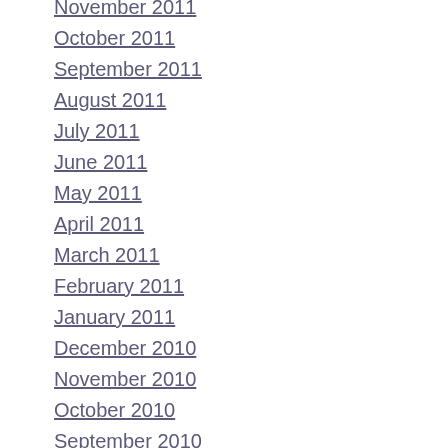November 2011
October 2011
September 2011
August 2011
July 2011
June 2011
May 2011
April 2011
March 2011
February 2011
January 2011
December 2010
November 2010
October 2010
September 2010
August 2010
July 2010
June 2010
May 2010